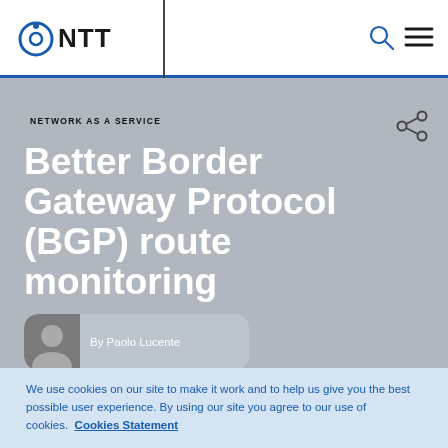NTT
NETWORK AS A SERVICE
Better Border Gateway Protocol (BGP) route monitoring
By Paolo Lucente
We use cookies on our site to make it work and to help us give you the best possible user experience. By using our site you agree to our use of cookies. Cookies Statement